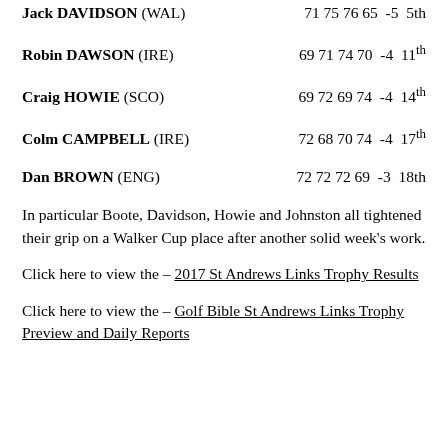Jack DAVIDSON (WAL)  71 75 76 65  -5  5th
Robin DAWSON (IRE)  69 71 74 70  -4  11th
Craig HOWIE (SCO)  69 72 69 74  -4  14th
Colm CAMPBELL (IRE)  72 68 70 74  -4  17th
Dan BROWN (ENG)  72 72 72 69  -3  18th
In particular Boote, Davidson, Howie and Johnston all tightened their grip on a Walker Cup place after another solid week's work.
Click here to view the – 2017 St Andrews Links Trophy Results
Click here to view the – Golf Bible St Andrews Links Trophy Preview and Daily Reports